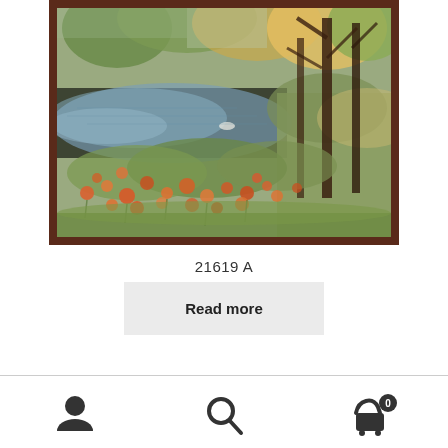[Figure (illustration): A framed oil painting depicting a garden landscape with orange and red wildflowers in the foreground, green foliage, a reflective pond or river in the middle ground, and trees with autumn-colored leaves in the background. The painting has a dark brown wooden frame.]
21619 A
Read more